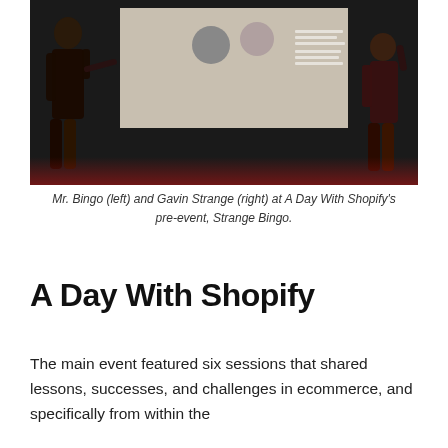[Figure (photo): Mr. Bingo (left) and Gavin Strange (right) on stage at A Day With Shopify's pre-event, Strange Bingo. Dark stage with red lighting at the base, a projection screen in the background showing profile photos.]
Mr. Bingo (left) and Gavin Strange (right) at A Day With Shopify's pre-event, Strange Bingo.
A Day With Shopify
The main event featured six sessions that shared lessons, successes, and challenges in ecommerce, and specifically from within the